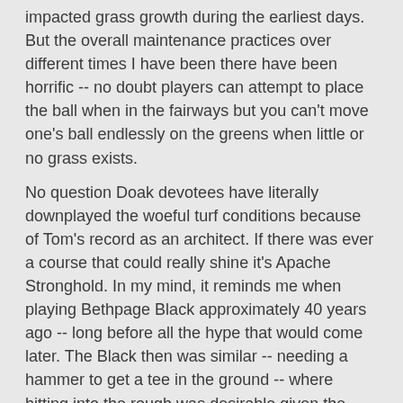impacted grass growth during the earliest days. But the overall maintenance practices over different times I have been there have been horrific -- no doubt players can attempt to place the ball when in the fairways but you can't move one's ball endlessly on the greens when little or no grass exists.
No question Doak devotees have literally downplayed the woeful turf conditions because of Tom's record as an architect. If there was ever a course that could really shine it's Apache Stronghold. In my mind, it reminds me when playing Bethpage Black approximately 40 years ago -- long before all the hype that would come later. The Black then was similar -- needing a hammer to get a tee in the ground -- where hitting into the rough was desirable given the plentitude of grass there when compared to the fairway. The Black made a magnificent resurgence, but only when a number of key players came together to make that happen.
Can Apache Stronghold do likewise?
Let me put it this way - I won't be going for a fourth visit until I see photos with sworn affidavits from key people telling some sort of miraculous intervention has happened. Mark was quite forgiving with his overall course assessment. Mine, as you likely can discern -- is far less tolerant.